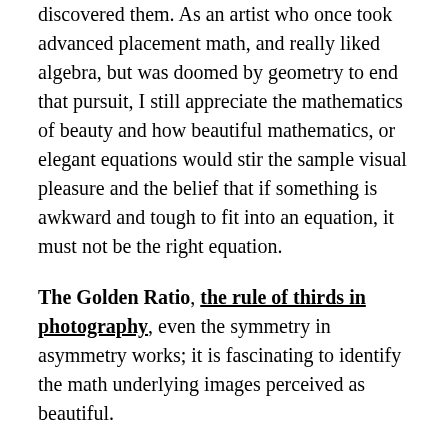discovered them. As an artist who once took advanced placement math, and really liked algebra, but was doomed by geometry to end that pursuit, I still appreciate the mathematics of beauty and how beautiful mathematics, or elegant equations would stir the sample visual pleasure and the belief that if something is awkward and tough to fit into an equation, it must not be the right equation.
The Golden Ratio, the rule of thirds in photography, even the symmetry in asymmetry works; it is fascinating to identify the math underlying images perceived as beautiful.
Since I have not done algebra for decades and have only read about physics, some of my understanding of both is very amateur, but this book helped me understand why various things mattered and how they interconnect, and how mathematics is a crucial